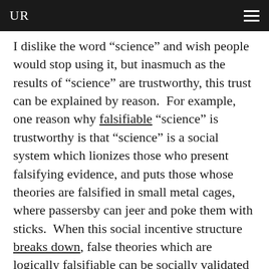UR
I dislike the word “science” and wish people would stop using it, but inasmuch as the results of “science” are trustworthy, this trust can be explained by reason. For example, one reason why falsifiable “science” is trustworthy is that “science” is a social system which lionizes those who present falsifying evidence, and puts those whose theories are falsified in small metal cages, where passersby can jeer and poke them with sticks. When this social incentive structure breaks down, false theories which are logically falsifiable can be socially validated as “science.”
Furthermore, the formal methods of mathematics and “science” are effective only for a very small set of problems. These problems do